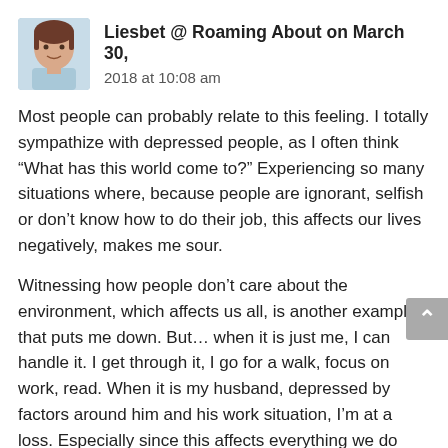[Figure (photo): Circular avatar photo of a woman (Liesbet) with short dark hair, wearing a light blue top, against a light background.]
Liesbet @ Roaming About on March 30, 2018 at 10:08 am
Most people can probably relate to this feeling. I totally sympathize with depressed people, as I often think “What has this world come to?” Experiencing so many situations where, because people are ignorant, selfish or don’t know how to do their job, this affects our lives negatively, makes me sour.
Witnessing how people don’t care about the environment, which affects us all, is another example that puts me down. But… when it is just me, I can handle it. I get through it, I go for a walk, focus on work, read. When it is my husband, depressed by factors around him and his work situation, I’m at a loss. Especially since this affects everything we do and has been going on for a long time.